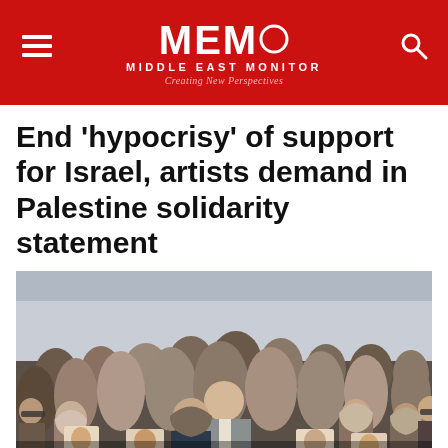MEMO MIDDLE EAST MONITOR — Creating New Perspectives
End 'hypocrisy' of support for Israel, artists demand in Palestine solidarity statement
[Figure (photo): A crowd of people at a protest, many wearing hijabs, holding photographs of individuals and Arabic-language signs including text reading 'وداعاً ايقونة الإعلام الفلسطيني']